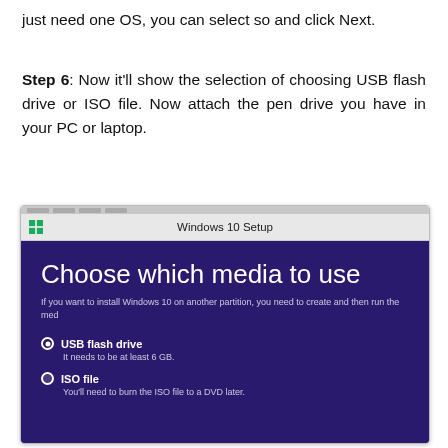just need one OS, you can select so and click Next.
Step 6: Now it'll show the selection of choosing USB flash drive or ISO file. Now attach the pen drive you have in your PC or laptop.
[Figure (screenshot): Windows 10 Setup dialog showing 'Choose which media to use' with options for USB flash drive (selected, needs at least 6 GB) and ISO file (you'll need to burn the ISO file to a DVD later).]